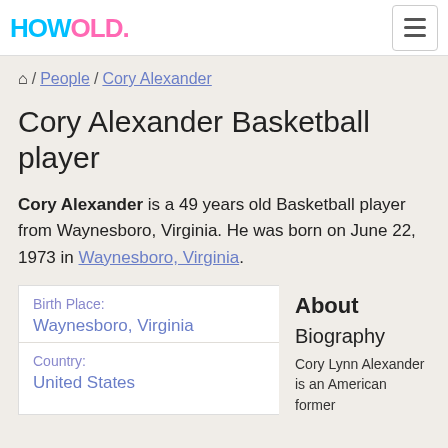HOWOLD.
🏠 / People / Cory Alexander
Cory Alexander Basketball player
Cory Alexander is a 49 years old Basketball player from Waynesboro, Virginia. He was born on June 22, 1973 in Waynesboro, Virginia.
| Field | Value |
| --- | --- |
| Birth Place: | Waynesboro, Virginia |
| Country: | United States |
About
Biography
Cory Lynn Alexander is an American former